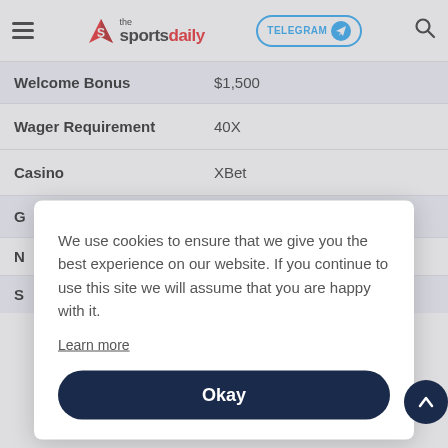the sportsdaily — TELEGRAM — Search
|  |  |
| --- | --- |
| Welcome Bonus | $1,500 |
| Wager Requirement | 40X |
| Casino | XBet |
| G | Slots, roulette, blackjack, |
| N |  |
| S |  |
We use cookies to ensure that we give you the best experience on our website. If you continue to use this site we will assume that you are happy with it.
Learn more
Okay